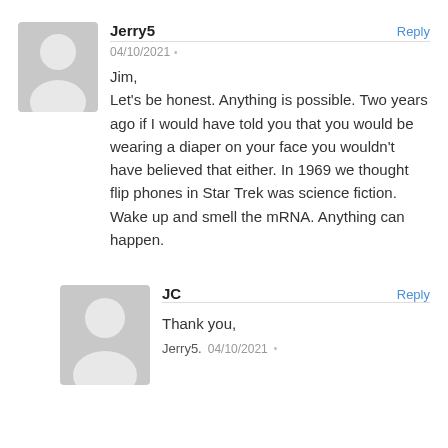[Figure (illustration): Gray placeholder avatar icon for user Jerry5]
Jerry5
Reply
04/10/2021 •
Jim,
Let's be honest. Anything is possible. Two years ago if I would have told you that you would be wearing a diaper on your face you wouldn't have believed that either. In 1969 we thought flip phones in Star Trek was science fiction. Wake up and smell the mRNA. Anything can happen.
[Figure (illustration): Gray placeholder avatar icon for user JC]
JC
Reply
Thank you,
Jerry5.   04/10/2021 •